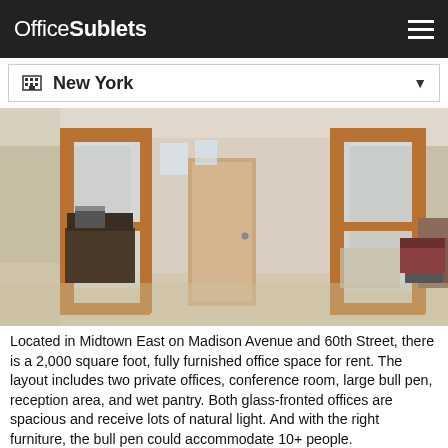OfficeSublets
New York
[Figure (photo): Interior of a Midtown East office space showing glass-fronted private offices with wooden frames, open bull pen area with beige carpet, visible reception area with sofa, and natural light from windows.]
Located in Midtown East on Madison Avenue and 60th Street, there is a 2,000 square foot, fully furnished office space for rent. The layout includes two private offices, conference room, large bull pen, reception area, and wet pantry. Both glass-fronted offices are spacious and receive lots of natural light. And with the right furniture, the bull pen could accommodate 10+ people.
This fantastic Plaza District office space is ideal for a